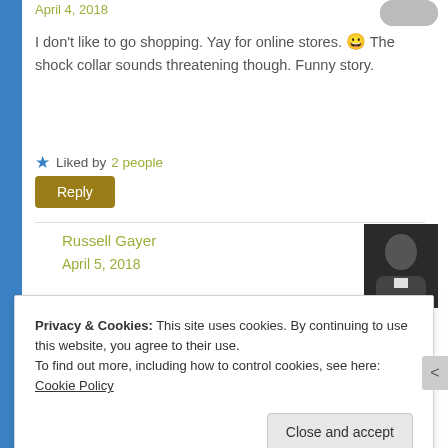April 4, 2018 (truncated at top)
I don't like to go shopping. Yay for online stores. 😀 The shock collar sounds threatening though. Funny story.
Liked by 2 people
Reply
Russell Gayer
April 5, 2018
Privacy & Cookies: This site uses cookies. By continuing to use this website, you agree to their use.
To find out more, including how to control cookies, see here: Cookie Policy
Close and accept